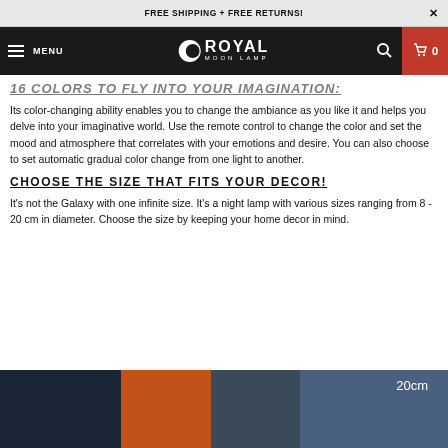FREE SHIPPING + FREE RETURNS!
MENU | ROYAL MOON LAMP | 0
16 COLORS TO FLY INTO YOUR IMAGINATION:
Its color-changing ability enables you to change the ambiance as you like it and helps you delve into your imaginative world. Use the remote control to change the color and set the mood and atmosphere that correlates with your emotions and desire. You can also choose to set automatic gradual color change from one light to another.
CHOOSE THE SIZE THAT FITS YOUR DECOR!
It's not the Galaxy with one infinite size. It's a night lamp with various sizes ranging from 8 - 20 cm in diameter. Choose the size by keeping your home decor in mind.
[Figure (photo): Product photo showing moon lamps of different sizes in various colors (dark blue, orange, grey, light blue) with a '20cm' label visible]